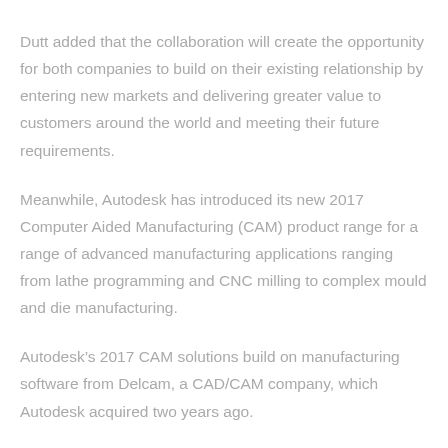Dutt added that the collaboration will create the opportunity for both companies to build on their existing relationship by entering new markets and delivering greater value to customers around the world and meeting their future requirements.
Meanwhile, Autodesk has introduced its new 2017 Computer Aided Manufacturing (CAM) product range for a range of advanced manufacturing applications ranging from lathe programming and CNC milling to complex mould and die manufacturing.
Autodesk’s 2017 CAM solutions build on manufacturing software from Delcam, a CAD/CAM company, which Autodesk acquired two years ago.